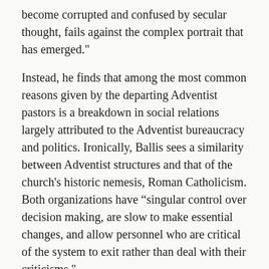become corrupted and confused by secular thought, fails against the complex portrait that has emerged."
Instead, he finds that among the most common reasons given by the departing Adventist pastors is a breakdown in social relations largely attributed to the Adventist bureaucracy and politics. Ironically, Ballis sees a similarity between Adventist structures and that of the church's historic nemesis, Roman Catholicism. Both organizations have “singular control over decision making, are slow to make essential changes, and allow personnel who are critical of the system to exit rather than deal with their criticisms."
(Apologis Report www.apologis.org)